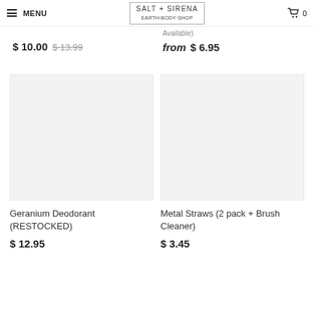MENU | SALT + SIRENA | 0
$ 10.00  $ 13.99
Available)
from $ 6.95
[Figure (photo): Product image placeholder for Geranium Deodorant (RESTOCKED) — light grey rectangle]
[Figure (photo): Product image placeholder for Metal Straws (2 pack + Brush Cleaner) — light grey rectangle]
Geranium Deodorant (RESTOCKED)
$ 12.95
Metal Straws (2 pack + Brush Cleaner)
$ 3.45